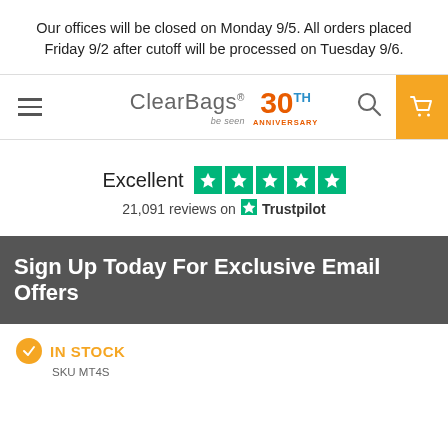Our offices will be closed on Monday 9/5. All orders placed Friday 9/2 after cutoff will be processed on Tuesday 9/6.
[Figure (logo): ClearBags logo with 30th Anniversary badge, hamburger menu, search icon, and cart button]
[Figure (infographic): Trustpilot rating: Excellent, 5 green stars, 21,091 reviews on Trustpilot]
Sign Up Today For Exclusive Email Offers
IN STOCK
SKU MT4S